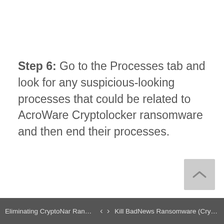Step 6: Go to the Processes tab and look for any suspicious-looking processes that could be related to AcroWare Cryptolocker ransomware and then end their processes.
Eliminating CryptoNar Ransomwar... < > Kill BadNews Ransomware (Crypto...